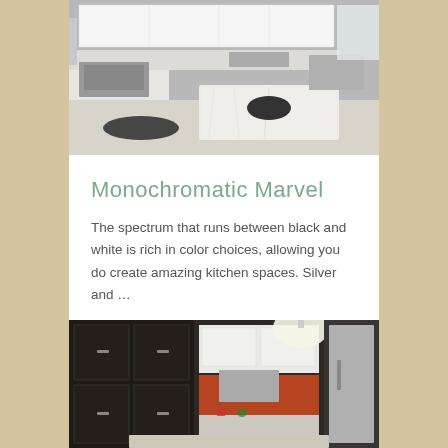[Figure (photo): Overhead view of a modern white kitchen with granite island countertop, stainless steel appliances, black mat, and dark bowl on the island.]
Monochromatic Marvel
The spectrum that runs between black and white is rich in color choices, allowing you do create amazing kitchen spaces. Silver and …
[Figure (photo): Kitchen with dark espresso cabinets on the left, white upper cabinets, orange backsplash, pendant light, and stainless steel refrigerator.]